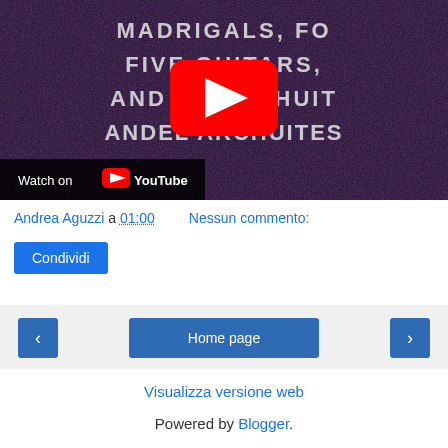[Figure (screenshot): YouTube video thumbnail showing text 'MADRIGALS, FIVE GUITARS, AND EL ARCHUITES' with YouTube play button overlay and 'Watch on YouTube' bar at bottom left]
Andrea Aguzzi a 01:00    Nessun commento:
Condividi
‹   Home page   ›
Visualizza versione web
Powered by Blogger.